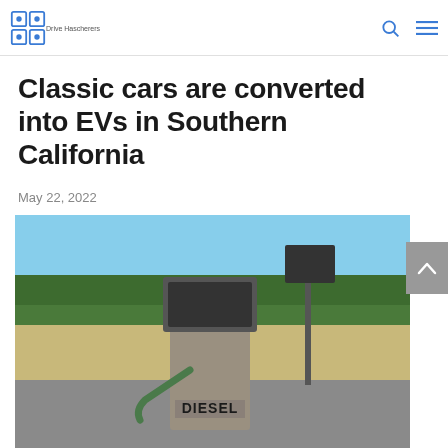Drive Haschereers [logo with search and menu icons]
Classic cars are converted into EVs in Southern California
May 22, 2022
[Figure (photo): A diesel fuel pump station in a rural setting with green hedgerow, open sky, and pavement. The word DIESEL is printed on the pump.]